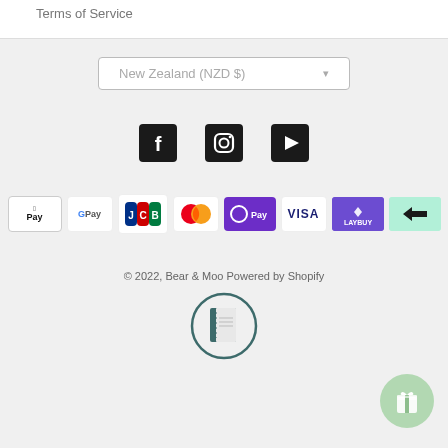Terms of Service
New Zealand (NZD $)
[Figure (other): Social media icons: Facebook, Instagram, YouTube]
[Figure (other): Payment method logos: Apple Pay, Google Pay, JCB, Mastercard, OPay, VISA, Laybuy, Afterpay]
© 2022, Bear & Moo Powered by Shopify
[Figure (logo): Bear & Moo circular logo — notebook with dotted stitching, teal/dark green color scheme]
[Figure (other): Green circular gift/rewards button with gift box icon]